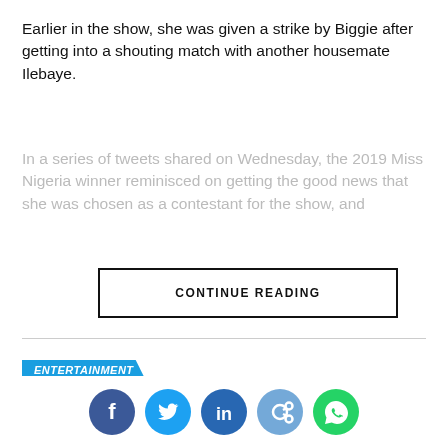Earlier in the show, she was given a strike by Biggie after getting into a shouting match with another housemate Ilebaye.
In a series of tweets shared on Wednesday, the 2019 Miss Nigeria winner reminisced on getting the good news that she was chosen as a contestant for the show, and
CONTINUE READING
ENTERTAINMENT
Singer Ayra Starr accuses airline firm, Air France, of racism